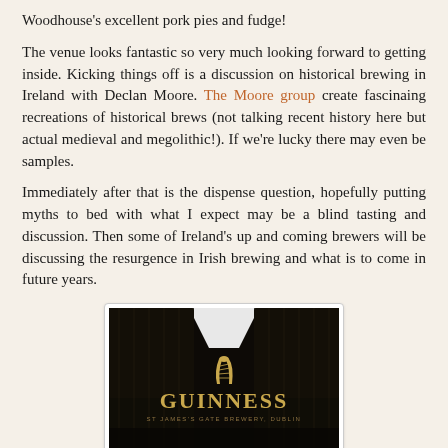Woodhouse's excellent pork pies and fudge!
The venue looks fantastic so very much looking forward to getting inside. Kicking things off is a discussion on historical brewing in Ireland with Declan Moore. The Moore group create fascinaing recreations of historical brews (not talking recent history here but actual medieval and megolithic!). If we're lucky there may even be samples.
Immediately after that is the dispense question, hopefully putting myths to bed with what I expect may be a blind tasting and discussion. Then some of Ireland's up and coming brewers will be discussing the resurgence in Irish brewing and what is to come in future years.
[Figure (photo): Dark close-up photograph of a Guinness sign or barrel at St James's Gate Brewery, Dublin, with gold 'GUINNESS' lettering and a harp logo visible.]